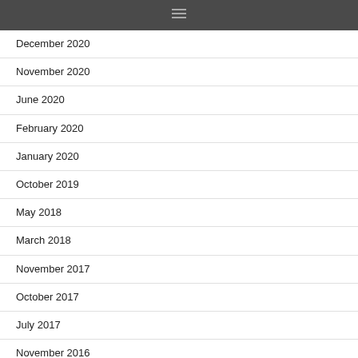December 2020
November 2020
June 2020
February 2020
January 2020
October 2019
May 2018
March 2018
November 2017
October 2017
July 2017
November 2016